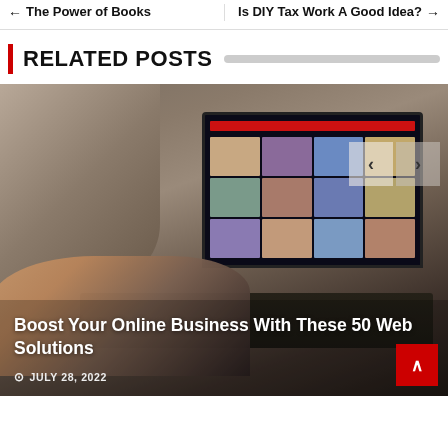← The Power of Books | Is DIY Tax Work A Good Idea? →
RELATED POSTS
[Figure (photo): A person typing on a laptop with a website showing a photo grid on the screen. The image has warm brown tones. Carousel navigation buttons (‹ ›) appear in the upper-right of the image.]
Boost Your Online Business With These 50 Web Solutions
JULY 28, 2022